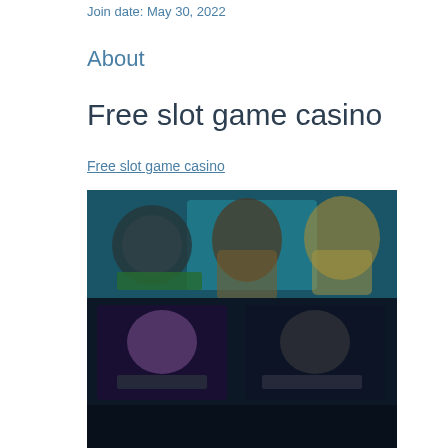Join date: May 30, 2022
About
Free slot game casino
Free slot game casino
[Figure (screenshot): Blurred screenshot of a casino slot game interface showing colorful game tiles and characters on a dark background]